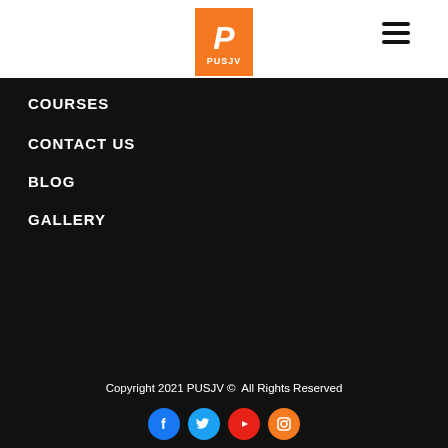[Figure (logo): PUSJV logo — orange square with white italic P and PUSJV text below]
ABOUT US
ADMISSION
COURSES
CONTACT US
BLOG
GALLERY
Copyright 2021 PUSJV ©  All Rights Reserved
[Figure (other): Social media icons row: Facebook, Twitter, YouTube, Instagram]